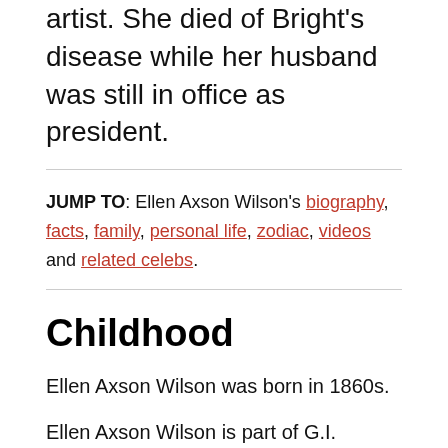artist. She died of Bright's disease while her husband was still in office as president.
JUMP TO: Ellen Axson Wilson's biography, facts, family, personal life, zodiac, videos and related celebs.
Childhood
Ellen Axson Wilson was born in 1860s.
Ellen Axson Wilson is part of G.I. Generation